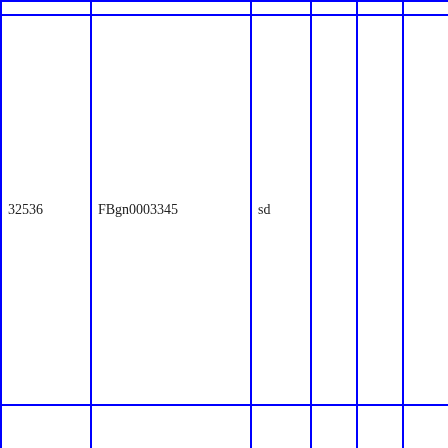|  |  |  |  |  |  |
| 32536 | FBgn0003345 | sd |  |  |  |
|  |  |  |  |  |  |